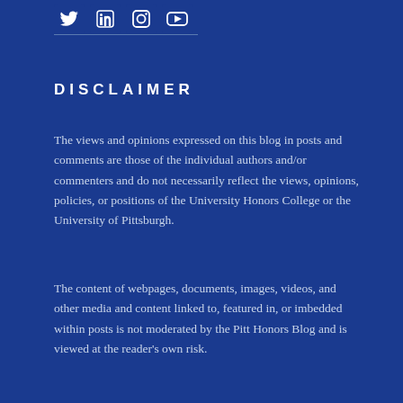[Figure (other): Social media icons: Twitter, LinkedIn, Instagram, YouTube]
DISCLAIMER
The views and opinions expressed on this blog in posts and comments are those of the individual authors and/or commenters and do not necessarily reflect the views, opinions, policies, or positions of the University Honors College or the University of Pittsburgh.
The content of webpages, documents, images, videos, and other media and content linked to, featured in, or imbedded within posts is not moderated by the Pitt Honors Blog and is viewed at the reader's own risk.